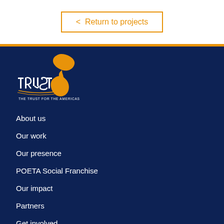< Return to projects
[Figure (logo): The Trust for the Americas logo — orange map of the Americas above stylized TRUST text with arcing line, subtitle: THE TRUST FOR THE AMERICAS]
About us
Our work
Our presence
POETA Social Franchise
Our impact
Partners
Get involved
Press room